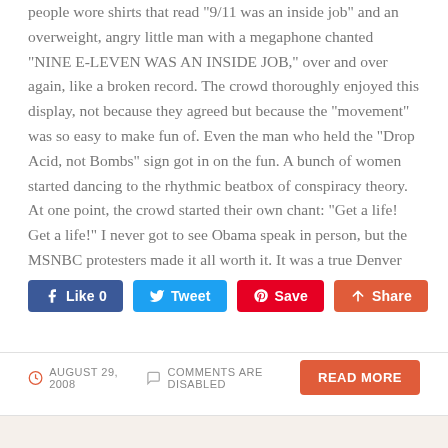people wore shirts that read "9/11 was an inside job" and an overweight, angry little man with a megaphone chanted "NINE E-LEVEN WAS AN INSIDE JOB," over and over again, like a broken record.  The crowd thoroughly enjoyed this display, not because they agreed but because the "movement" was so easy to make fun of.  Even the man who held the "Drop Acid, not Bombs" sign got in on the fun.  A bunch of women started dancing to the rhythmic beatbox of conspiracy theory.  At one point, the crowd started their own chant:  "Get a life!  Get a life!"  I never got to see Obama speak in person, but the MSNBC protesters made it all worth it.  It was a true Denver experience.
[Figure (other): Social sharing buttons: Like 0 (Facebook), Tweet (Twitter), Save (Pinterest), Share (Google+)]
AUGUST 29, 2008   COMMENTS ARE DISABLED   READ MORE